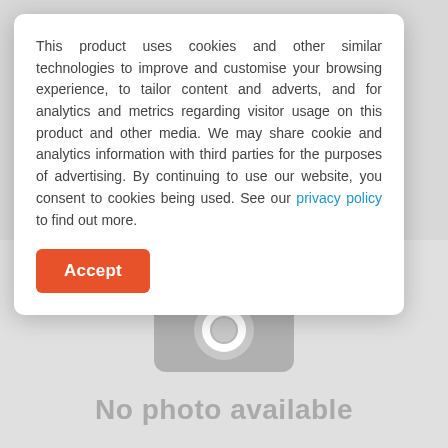[Figure (illustration): No photo available placeholder with grey camera icon and text 'No photo available']
This product uses cookies and other similar technologies to improve and customise your browsing experience, to tailor content and adverts, and for analytics and metrics regarding visitor usage on this product and other media. We may share cookie and analytics information with third parties for the purposes of advertising. By continuing to use our website, you consent to cookies being used. See our privacy policy to find out more.
Accept